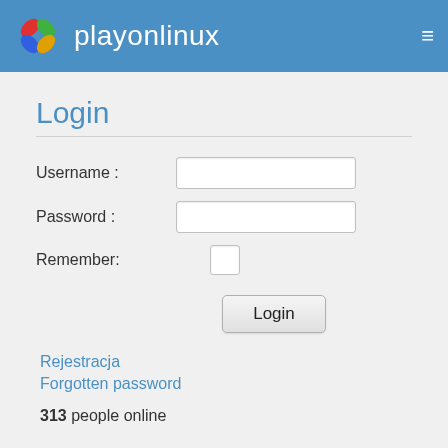playonlinux
Login
Username :
Password :
Remember:
Login
Rejestracja
Forgotten password
313 people online